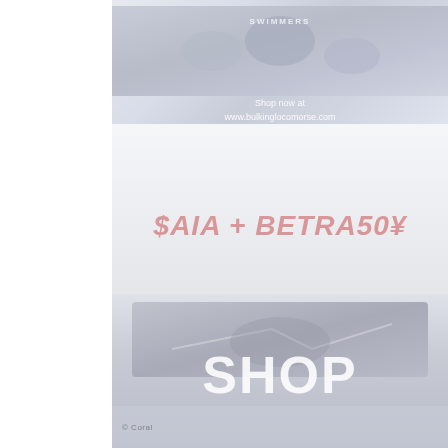[Figure (photo): Faded/washed out image of swimmers in action with text overlay reading 'Shop now at www.bulkinglocomorse.com' approximately, overlaid on top portion]
[Figure (photo): Faded promotional ad section with large italic red text reading '$AIA + BETRA50¥' or similar promotional code text in the middle]
[Figure (photo): Faded bottom section showing a product image (swimwear/athletic wear) with large bold white text 'SHOP' and a bottom bar with small text]
SWIMMERS
Shop now at
www.bulkinglocomorse.com
$AIA + BETRA50¥
SHOP
© Coral